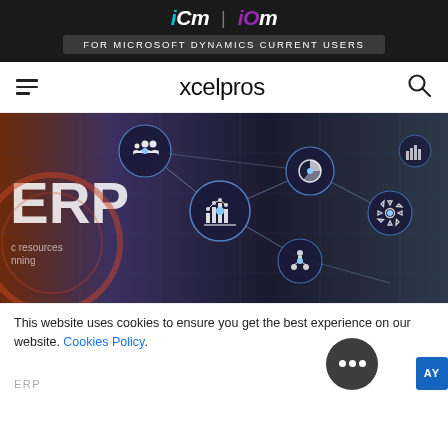iCM | iOM FOR MICROSOFT DYNAMICS CURRENT USERS
xcelpros
[Figure (illustration): ERP technology infographic showing floating circular icons (people, pie chart, bar chart, org chart, gears) connected by lines against a dark blue/grey background, with 'ERP' text and 'c resources nning' partially visible on the left side.]
This website uses cookies to ensure you get the best experience on our website. Cookies Policy.
ERP